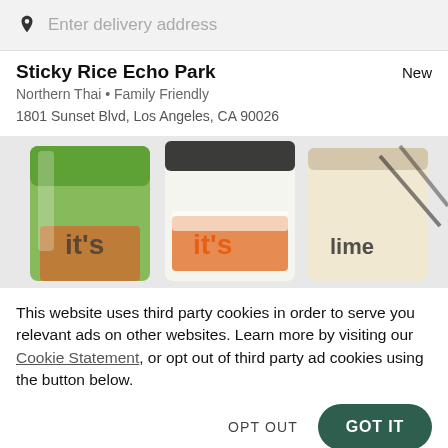Enter delivery address
Sticky Rice Echo Park
New
Northern Thai • Family Friendly
1801 Sunset Blvd, Los Angeles, CA 90026
[Figure (photo): Three iced drinks in clear plastic cups showing green, black-and-white layered, and cream-colored beverages with orange swirl pattern near base, on a white background with partial branding text visible.]
This website uses third party cookies in order to serve you relevant ads on other websites. Learn more by visiting our Cookie Statement, or opt out of third party ad cookies using the button below.
OPT OUT
GOT IT